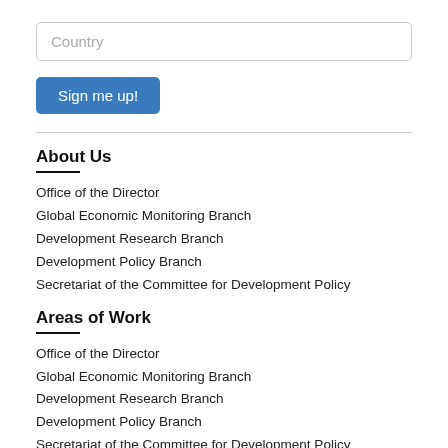Country
Sign me up!
About Us
Office of the Director
Global Economic Monitoring Branch
Development Research Branch
Development Policy Branch
Secretariat of the Committee for Development Policy
Areas of Work
Office of the Director
Global Economic Monitoring Branch
Development Research Branch
Development Policy Branch
Secretariat of the Committee for Development Policy
Important Links
LDC Portal